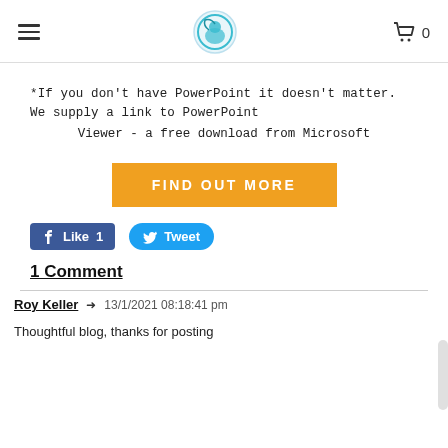Navigation header with hamburger menu, circular logo, and shopping cart with count 0
*If you don't have PowerPoint it doesn't matter.  We supply a link to PowerPoint Viewer - a free download from Microsoft
[Figure (other): Orange button reading FIND OUT MORE]
[Figure (other): Facebook Like button (Like 1) and Twitter Tweet button]
1 Comment
Roy Keller  ➜  13/1/2021 08:18:41 pm
Thoughtful blog, thanks for posting